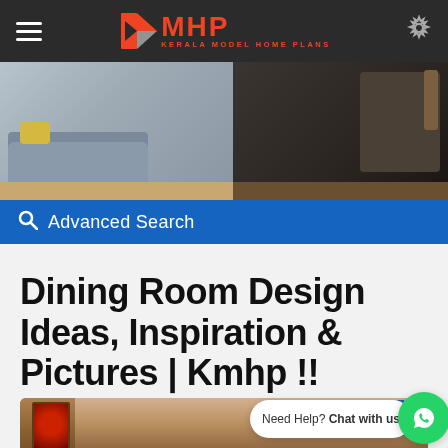MHP KERALA MODEL HOME PLANS
[Figure (photo): Banner photo showing a living room with gray sofa and yellow pillow on the left, and a dark room with shelving unit on the right]
Advanced Search
Dining Room Design Ideas, Inspiration & Pictures | Kmhp !!
[Figure (photo): Dining room interior with wooden paneling and a religious painting on the wall]
Need Help? Chat with us